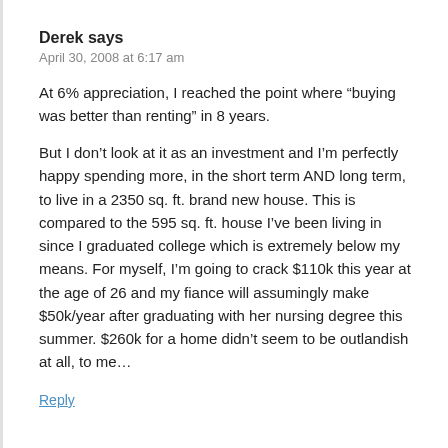Derek says
April 30, 2008 at 6:17 am
At 6% appreciation, I reached the point where “buying was better than renting” in 8 years.
But I don’t look at it as an investment and I’m perfectly happy spending more, in the short term AND long term, to live in a 2350 sq. ft. brand new house. This is compared to the 595 sq. ft. house I’ve been living in since I graduated college which is extremely below my means. For myself, I’m going to crack $110k this year at the age of 26 and my fiance will assumingly make $50k/year after graduating with her nursing degree this summer. $260k for a home didn’t seem to be outlandish at all, to me...
Reply